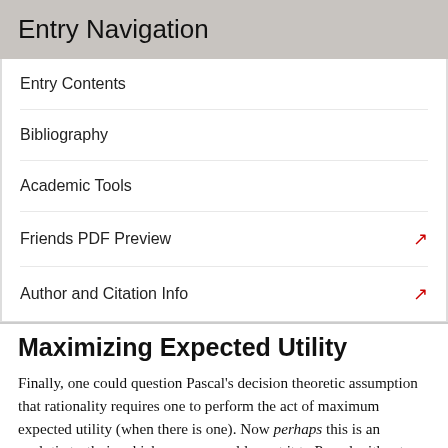Entry Navigation
Entry Contents
Bibliography
Academic Tools
Friends PDF Preview
Author and Citation Info
Maximizing Expected Utility
Finally, one could question Pascal's decision theoretic assumption that rationality requires one to perform the act of maximum expected utility (when there is one). Now perhaps this is an analytic truth, in which case we could grant it to Pascal without further discussion — perhaps it is constitutive of rationality to maximize expectation, as some might say. But this premise has met serious objections. The Allais 1953 and Ellsberg 1961 paradoxes, for example, are said to show that maximizing expectation can lead one to perform intuitively sub